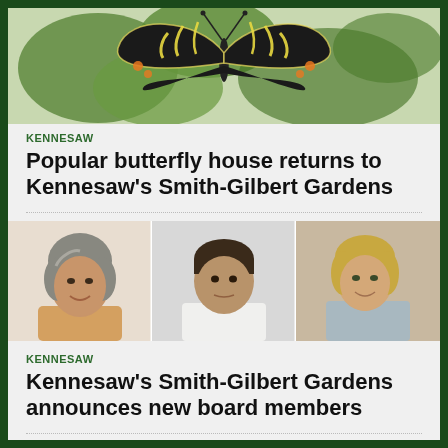[Figure (photo): A black and yellow swallowtail butterfly resting on green leaves with orange flowers in background]
KENNESAW
Popular butterfly house returns to Kennesaw's Smith-Gilbert Gardens
[Figure (photo): Three portraits side by side: a woman with grey hair smiling, a man in a white shirt, and a blonde woman]
KENNESAW
Kennesaw's Smith-Gilbert Gardens announces new board members